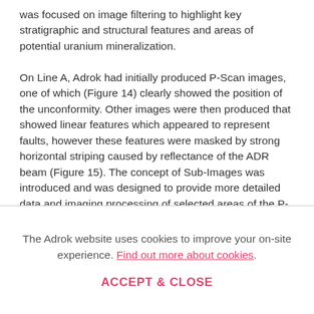was focused on image filtering to highlight key stratigraphic and structural features and areas of potential uranium mineralization.

On Line A, Adrok had initially produced P-Scan images, one of which (Figure 14) clearly showed the position of the unconformity. Other images were then produced that showed linear features which appeared to represent faults, however these features were masked by strong horizontal striping caused by reflectance of the ADR beam (Figure 15). The concept of Sub-Images was introduced and was designed to provide more detailed data and imaging processing of selected areas of the P-Scan. Bandpass frequency filtering, based on known ADR typecasting analysis of wet mineralized drill core samples, was applied to the Sub-Images to highlight energy responses possibly
The Adrok website uses cookies to improve your on-site experience. Find out more about cookies.
ACCEPT & CLOSE